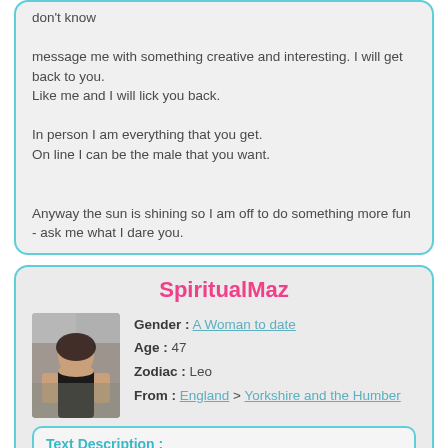don't know

message me with something creative and interesting. I will get back to you.
Like me and I will lick you back.

In person I am everything that you get.
On line I can be the male that you want.


Anyway the sun is shining so I am off to do something more fun - ask me what I dare you.
SpiritualMaz
Gender : A Woman to date
Age : 47
Zodiac : Leo
From : England > Yorkshire and the Humber
Text Description :
Single Mum of 2 boys. Looking for a decent, honest , fun, caring kind of guy. I am a fun , loving, friendly